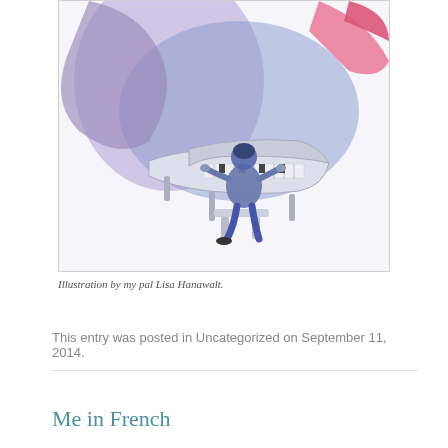[Figure (illustration): Watercolor illustration of a person sitting at a grand piano, playing. Abstract colorful figures in blue, purple, and pink surround the pianist. The piano is white/light colored. The scene has a whimsical, artistic style.]
Illustration by my pal Lisa Hanawalt.
This entry was posted in Uncategorized on September 11, 2014.
Me in French
Several of my essays have been translated into French and published by Moyen-Courrier.